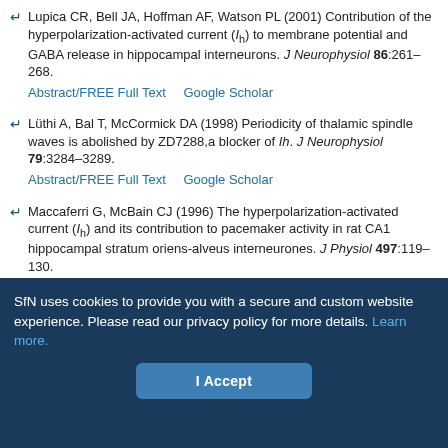Lupica CR, Bell JA, Hoffman AF, Watson PL (2001) Contribution of the hyperpolarization-activated current (Ih) to membrane potential and GABA release in hippocampal interneurons. J Neurophysiol 86:261–268. Abstract/FREE Full Text  Google Scholar
Lüthi A, Bal T, McCormick DA (1998) Periodicity of thalamic spindle waves is abolished by ZD7288,a blocker of Ih. J Neurophysiol 79:3284–3289. Abstract/FREE Full Text  Google Scholar
Maccaferri G, McBain CJ (1996) The hyperpolarization-activated current (Ih) and its contribution to pacemaker activity in rat CA1 hippocampal stratum oriens-alveus interneurones. J Physiol 497:119–130. Abstract/FREE Full Text  Google Scholar
Maccaferri G, Mangoni M, Lazzari A, DiFrancesco D (1993) Properties of the hyperpolarization-activated current in rat hippocampal CA1 pyramidal cells. J Neurophysiol 69:2129–2136. Abstract/FREE Full Text
SfN uses cookies to provide you with a secure and custom website experience. Please read our privacy policy for more details. Learn more.